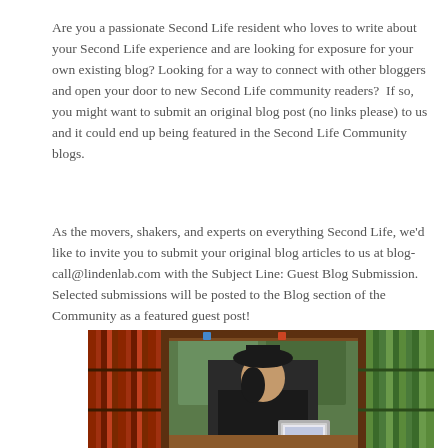Are you a passionate Second Life resident who loves to write about your Second Life experience and are looking for exposure for your own existing blog? Looking for a way to connect with other bloggers and open your door to new Second Life community readers?  If so, you might want to submit an original blog post (no links please) to us and it could end up being featured in the Second Life Community blogs.
As the movers, shakers, and experts on everything Second Life, we'd like to invite you to submit your original blog articles to us at blog-call@lindenlab.com with the Subject Line: Guest Blog Submission.  Selected submissions will be posted to the Blog section of the Community as a featured guest post!
[Figure (photo): A Second Life avatar wearing a black hat sitting at a desk with a laptop in what appears to be a library or study with bookshelves on both sides]